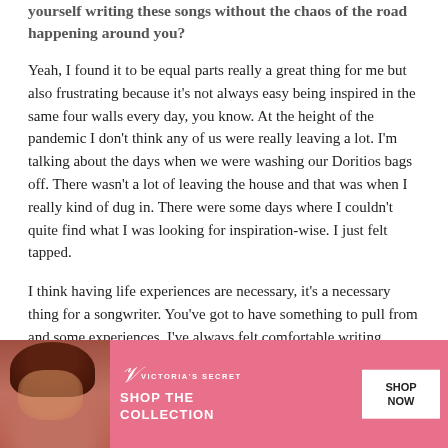yourself writing these songs without the chaos of the road happening around you?
Yeah, I found it to be equal parts really a great thing for me but also frustrating because it's not always easy being inspired in the same four walls every day, you know. At the height of the pandemic I don't think any of us were really leaving a lot. I'm talking about the days when we were washing our Doritios bags off. There wasn't a lot of leaving the house and that was when I really kind of dug in. There were some days where I couldn't quite find what I was looking for inspiration-wise. I just felt tapped.
I think having life experiences are necessary, it's a necessary thing for a songwriter. You've got to have something to pull from and some experiences. I've always felt comfortable writing autobiographically. I try not to shy away from emotions too much when I'm writing and I try to be as honest as I can. I feel like that's w...
[Figure (other): Victoria's Secret advertisement banner with a model with curly hair on the left, VS logo and 'SHOP THE COLLECTION' text in center on pink background, 'SHOP NOW' white button on right, and 'CLOSE' button at top right corner.]